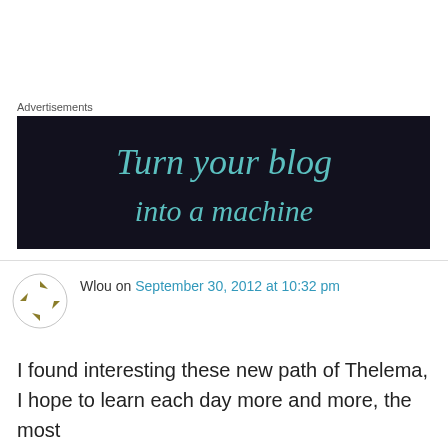Advertisements
[Figure (illustration): Dark advertisement banner with teal italic text reading 'Turn your blog']
Wlou on September 30, 2012 at 10:32 pm
I found interesting these new path of Thelema, I hope to learn each day more and more, the most
Privacy & Cookies: This site uses cookies. By continuing to use this website, you agree to their use.
To find out more, including how to control cookies, see here: Cookie Policy